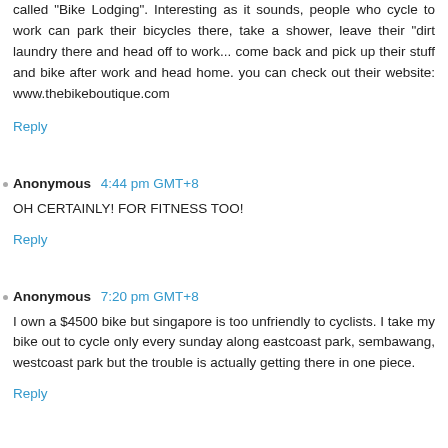called "Bike Lodging". Interesting as it sounds, people who cycle to work can park their bicycles there, take a shower, leave their "dirt laundry there and head off to work... come back and pick up their stuff and bike after work and head home. you can check out their website: www.thebikeboutique.com
Reply
Anonymous  4:44 pm GMT+8
OH CERTAINLY! FOR FITNESS TOO!
Reply
Anonymous  7:20 pm GMT+8
I own a $4500 bike but singapore is too unfriendly to cyclists. I take my bike out to cycle only every sunday along eastcoast park, sembawang, westcoast park but the trouble is actually getting there in one piece.
Reply